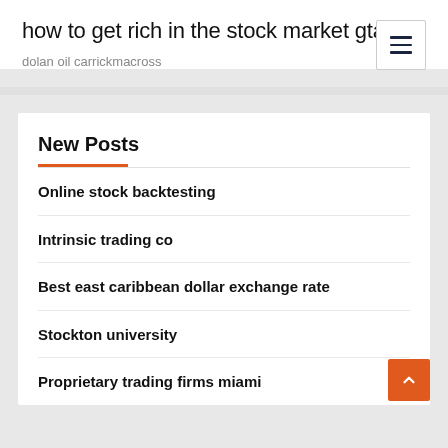how to get rich in the stock market gta 5
dolan oil carrickmacross
New Posts
Online stock backtesting
Intrinsic trading co
Best east caribbean dollar exchange rate
Stockton university
Proprietary trading firms miami